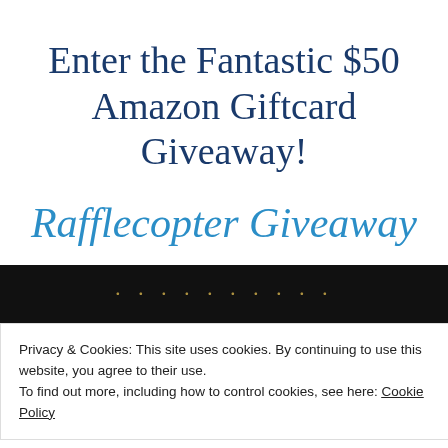Enter the Fantastic $50 Amazon Giftcard Giveaway!
Rafflecopter Giveaway
[Figure (photo): Dark book cover image strip at top]
Privacy & Cookies: This site uses cookies. By continuing to use this website, you agree to their use.
To find out more, including how to control cookies, see here: Cookie Policy
Close and accept
[Figure (photo): Dark book cover image strip at bottom with 'What if' text visible]